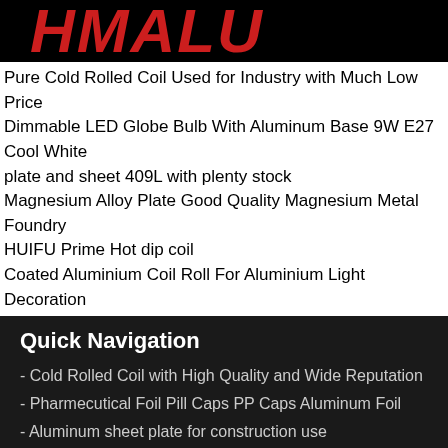[Figure (logo): HMALU logo in bold italic red text on black background]
Pure Cold Rolled Coil Used for Industry with Much Low Price
Dimmable LED Globe Bulb With Aluminum Base 9W E27 Cool White
plate and sheet 409L with plenty stock
Magnesium Alloy Plate Good Quality Magnesium Metal Foundry
HUIFU Prime Hot dip coil
Coated Aluminium Coil Roll For Aluminium Light Decoration
Quick Navigation
- Cold Rolled Coil with High Quality and Wide Reputation
- Pharmecutical Foil Pill Caps PP Caps Aluminum Foil
- Aluminum sheet plate for construction use
- PVC Foam Sheet with Best Selling from CNBM -Fortune 500 China State-owned Enterprise
Get a Quote | WhatsApp | Send Email